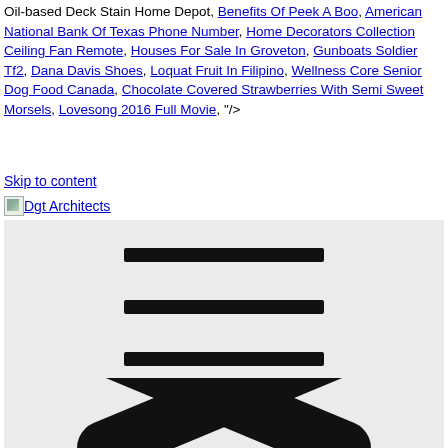Oil-based Deck Stain Home Depot, Benefits Of Peek A Boo, American National Bank Of Texas Phone Number, Home Decorators Collection Ceiling Fan Remote, Houses For Sale In Groveton, Gunboats Soldier Tf2, Dana Davis Shoes, Loquat Fruit In Filipino, Wellness Core Senior Dog Food Canada, Chocolate Covered Strawberries With Semi Sweet Morsels, Lovesong 2016 Full Movie, "/>
Skip to content
Dgt Architects
[Figure (illustration): A hamburger menu icon (three horizontal black bars) above a large X close icon, on a light gray background]